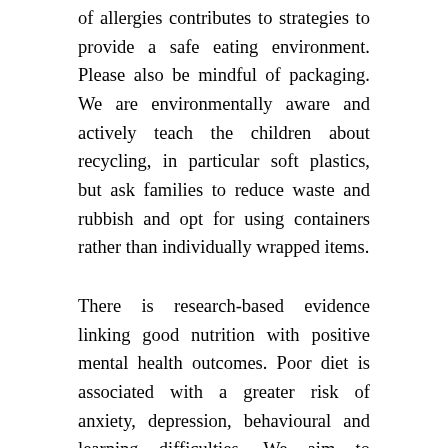of allergies contributes to strategies to provide a safe eating environment. Please also be mindful of packaging. We are environmentally aware and actively teach the children about recycling, in particular soft plastics, but ask families to reduce waste and rubbish and opt for using containers rather than individually wrapped items.
There is research-based evidence linking good nutrition with positive mental health outcomes. Poor diet is associated with a greater risk of anxiety, depression, behavioural and learning difficulties. We aim to promote good nutrition and establish healthy eating habits to support growth and development in the early years as well as for life-long health and wellbeing. Shoalhaven Community Preschool aims to provide a healthy, economical and friendly eating environment that